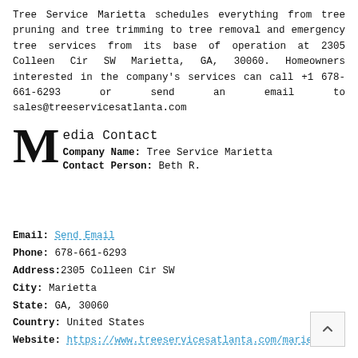Tree Service Marietta schedules everything from tree pruning and tree trimming to tree removal and emergency tree services from its base of operation at 2305 Colleen Cir SW Marietta, GA, 30060. Homeowners interested in the company's services can call +1 678-661-6293 or send an email to sales@treeservicesatlanta.com
Media Contact
Company Name: Tree Service Marietta
Contact Person: Beth R.
Email: Send Email
Phone: 678-661-6293
Address: 2305 Colleen Cir SW
City: Marietta
State: GA, 30060
Country: United States
Website: https://www.treeservicesatlanta.com/marietta/